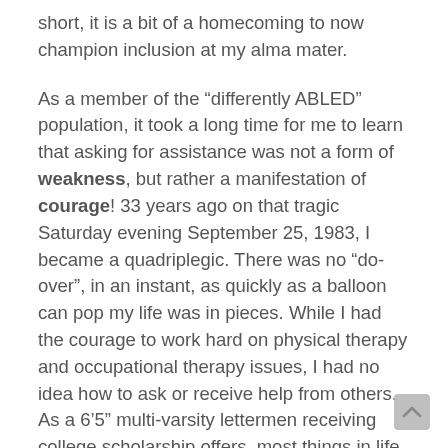short, it is a bit of a homecoming to now champion inclusion at my alma mater.
As a member of the “differently ABLED” population, it took a long time for me to learn that asking for assistance was not a form of weakness, but rather a manifestation of courage! 33 years ago on that tragic Saturday evening September 25, 1983, I became a quadriplegic. There was no “do-over”, in an instant, as quickly as a balloon can pop my life was in pieces. While I had the courage to work hard on physical therapy and occupational therapy issues, I had no idea how to ask or receive help from others. As a 6’5” multi-varsity lettermen receiving college scholarship offers, most things in life came easy and asking for help was not a part of